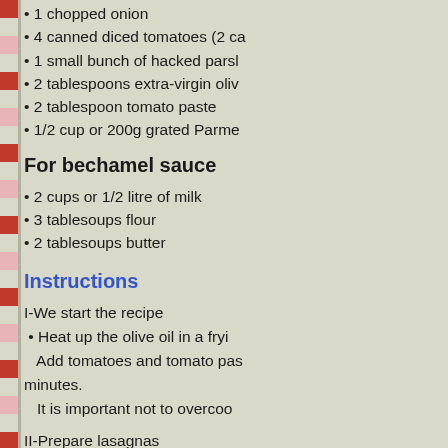• 1 chopped onion
• 4 canned diced tomatoes (2 ca…
• 1 small bunch of hacked parsl…
• 2 tablespoons extra-virgin oliv…
• 2 tablespoon tomato paste
• 1/2 cup or 200g grated Parme…
For bechamel sauce
• 2 cups or 1/2 litre of milk
• 3 tablesoups flour
• 2 tablesoups butter
Instructions
I-We start the recipe
• Heat up the olive oil in a fryi…
Add tomatoes and tomato pas… minutes.
It is important not to overcoo…
II-Prepare lasagnas
• Boil enough water and cook t…
Drain them, turn them under c…
sticking to one another while…